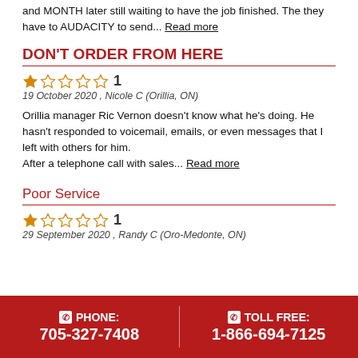and MONTH later still waiting to have the job finished. The they have to AUDACITY to send... Read more
DON'T ORDER FROM HERE
1 star rating — 1
19 October 2020 , Nicole C (Orillia, ON)
Orillia manager Ric Vernon doesn't know what he's doing. He hasn't responded to voicemail, emails, or even messages that I left with others for him. After a telephone call with sales... Read more
Poor Service
1 star rating — 1
29 September 2020 , Randy C (Oro-Medonte, ON)
PHONE: 705-327-7408 | TOLL FREE: 1-866-694-7125